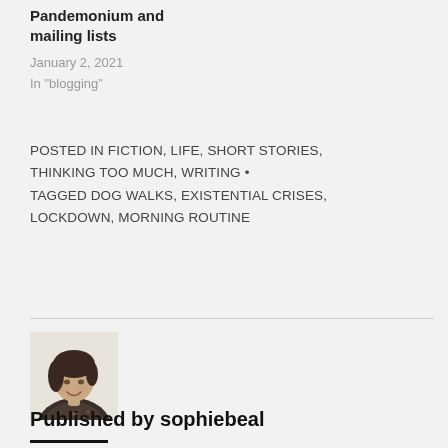Pandemonium and mailing lists
January 2, 2021
In "blogging"
POSTED IN FICTION, LIFE, SHORT STORIES, THINKING TOO MUCH, WRITING • TAGGED DOG WALKS, EXISTENTIAL CRISES, LOCKDOWN, MORNING ROUTINE
[Figure (photo): Black and white portrait photo of a smiling woman with dark hair, wearing a patterned top]
Published by sophiebeal